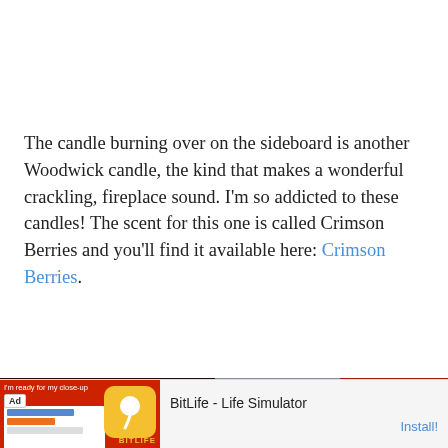The candle burning over on the sideboard is another Woodwick candle, the kind that makes a wonderful crackling, fireplace sound. I'm so addicted to these candles! The scent for this one is called Crimson Berries and you'll find it available here: Crimson Berries.
[Figure (photo): Photo of an antique wooden mantel clock with a white oval face and Roman numerals, alongside crystal glassware on a dark red surface.]
[Figure (screenshot): Advertisement banner for BitLife - Life Simulator mobile app showing Ad badge, app mockup screenshot on red background with sperm logo, and Install button.]